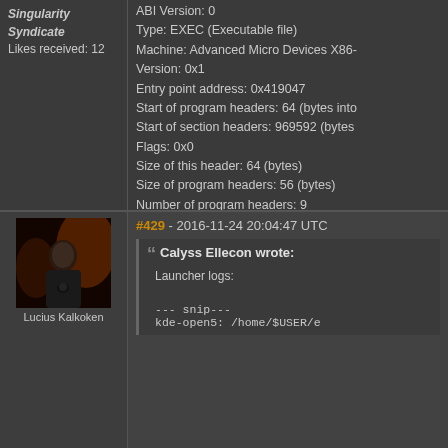Singularity Syndicate
Likes received: 12
OS/ABI: UNIX - GNU
ABI Version: 0
Type: EXEC (Executable file)
Machine: Advanced Micro Devices X86-
Version: 0x1
Entry point address: 0x419047
Start of program headers: 64 (bytes into
Start of section headers: 969592 (bytes
Flags: 0x0
Size of this header: 64 (bytes)
Size of program headers: 56 (bytes)
Number of program headers: 9
Size of section headers: 64 (bytes)
Number of section headers: 33
Section header string table index: 30
[Figure (photo): Avatar image of a dark-haired male character in black outfit against a fiery background]
Lucius Kalkoken
#429 - 2016-11-24 20:04:47 UTC
Calyss Ellecon wrote:
Launcher logs:
--- snip---
kde-open5: /home/$USER/e